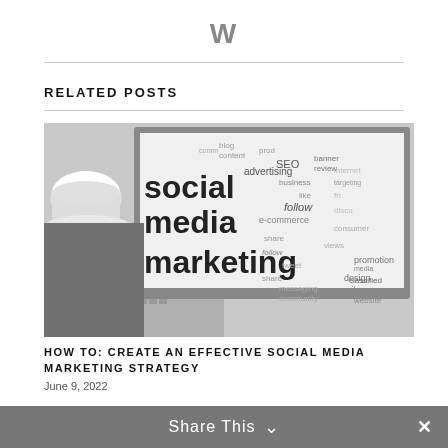W
RELATED POSTS
[Figure (photo): Black and white photo of a laptop with a word cloud featuring 'social media marketing' and related digital marketing terms such as SEO, advertising, e-commerce, business, community, design, promotion, classified, messaging, blog, visitor, follow, content, etc. A coffee cup and pen are visible beside the laptop.]
HOW TO: CREATE AN EFFECTIVE SOCIAL MEDIA MARKETING STRATEGY
June 9, 2022
Share This